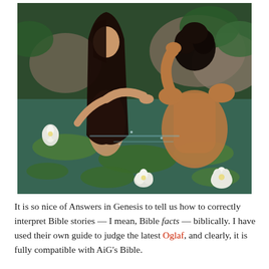[Figure (photo): A man and woman depicted as Adam and Eve in a garden pond with lily pads and water lilies. The woman has long dark hair and the man is shirtless with a beard; both are partially submerged.]
It is so nice of Answers in Genesis to tell us how to correctly interpret Bible stories — I mean, Bible facts — biblically. I have used their own guide to judge the latest Oglaf, and clearly, it is fully compatible with AiG's Bible.